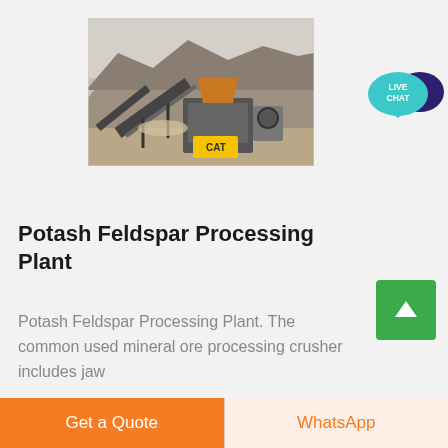[Figure (photo): Potash Feldspar Processing Plant machinery at a quarry/mining site, showing crushers and conveyor equipment against a rocky hillside background]
[Figure (other): Live Chat speech bubble icon in teal/cyan color with dark purple background bubble, text reads LIVE CHAT]
Potash Feldspar Processing Plant
Potash Feldspar Processing Plant. The common used mineral ore processing crusher includes jaw
Get a Quote | WhatsApp